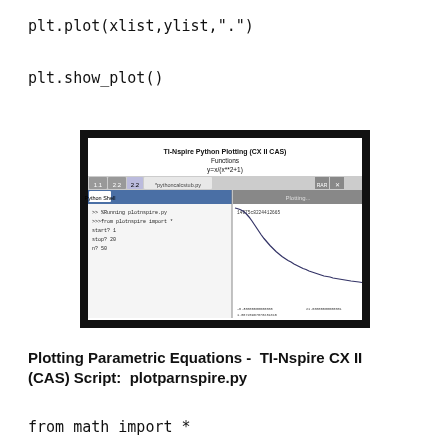plt.plot(xlist,ylist,".")

plt.show_plot()
[Figure (screenshot): Screenshot of TI-Nspire CX II CAS Python Shell and plotting window showing a curve plot of y=x/(x**2+1). Left panel shows Python Shell with code running plotnspire.py, importing from plotnspire, and prompts for start, stop, n. Right panel shows Plotting window with a hyperbola-like curve decreasing from top left. Title reads: TI-Nspire Python Plotting (CX II CAS) Functions y=x/(x**2+1)]
Plotting Parametric Equations -  TI-Nspire CX II (CAS) Script:  plotparnspire.py
from math import *